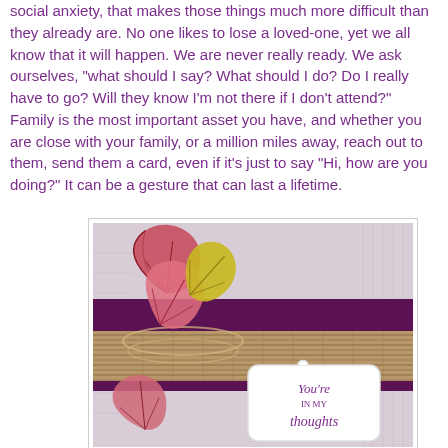social anxiety, that makes those things much more difficult than they already are. No one likes to lose a loved-one, yet we all know that it will happen. We are never really ready. We ask ourselves, "what should I say? What should I do? Do I really have to go? Will they know I'm not there if I don't attend?" Family is the most important asset you have, and whether you are close with your family, or a million miles away, reach out to them, send them a card, even if it's just to say "Hi, how are you doing?" It can be a gesture that can last a lifetime.
[Figure (photo): A decorative sympathy/thinking-of-you greeting card featuring autumn leaves in pink, red, and yellow-green tones, a dark purple ribbon, burlap twine wrapping, and a white tag label reading 'You're IN MY thoughts' in cursive purple script, on an embossed light gray background.]